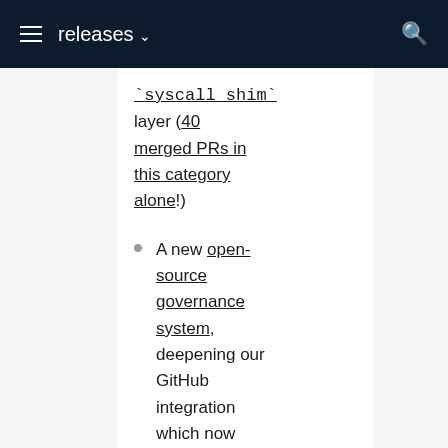releases ▾
`syscall_shim` layer (40 merged PRs in this category alone!)
A new open-source governance system, deepening our GitHub integration which now automatically